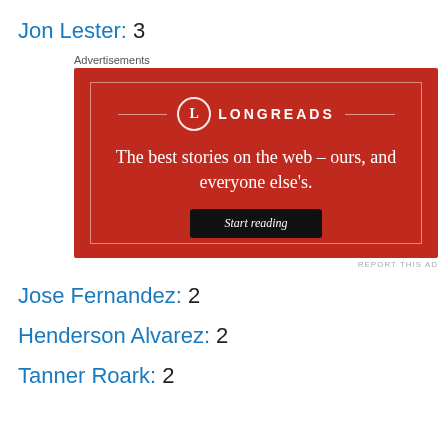Jon Lester: 3
[Figure (other): Longreads advertisement with red background. Shows the Longreads logo (circle with L), tagline 'The best stories on the web – ours, and everyone else's.' and a black 'Start reading' button.]
Jose Fernandez: 2
Henderson Alvarez: 2
Tanner Roark: 2